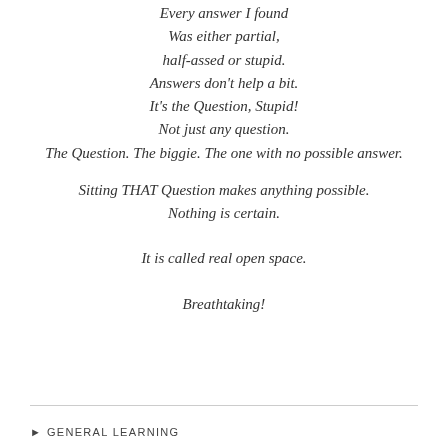Every answer I found
Was either partial,
half-assed or stupid.
Answers don't help a bit.
It's the Question, Stupid!
Not just any question.
The Question. The biggie. The one with no possible answer.

Sitting THAT Question makes anything possible.
Nothing is certain.

It is called real open space.

Breathtaking!
GENERAL LEARNING